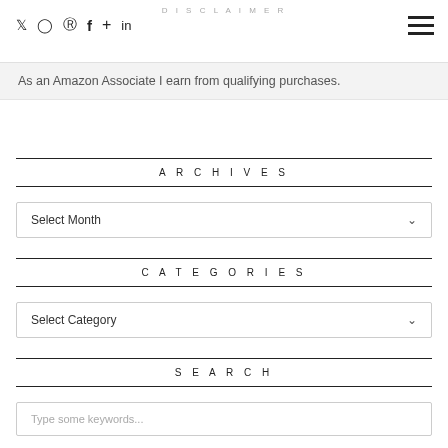DISCLAIMER
As an Amazon Associate I earn from qualifying purchases.
ARCHIVES
Select Month
CATEGORIES
Select Category
SEARCH
Type some keywords...